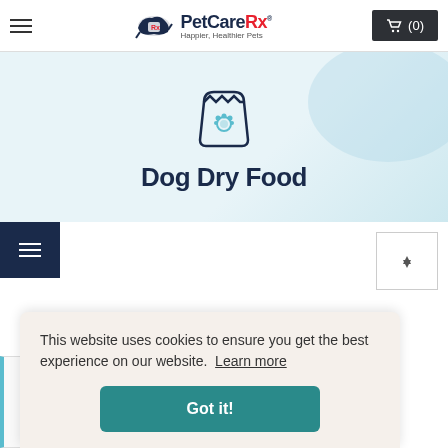PetCareRx — Happier, Healthier Pets (0)
[Figure (illustration): PetCareRx logo with running dog illustration and cart icon showing (0) items]
[Figure (illustration): Dog food bag icon with paw print on light blue hero banner]
Dog Dry Food
[Figure (screenshot): Filter button (hamburger icon on dark navy background) and sort dropdown area]
This website uses cookies to ensure you get the best experience on our website. Learn more
Got it!